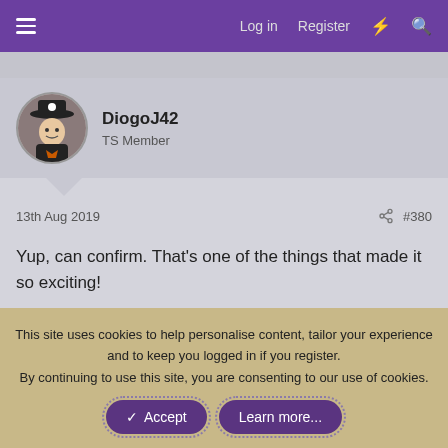Log in  Register
DiogoJ42
TS Member
13th Aug 2019  #380
Yup, can confirm. That's one of the things that made it so exciting!
This site uses cookies to help personalise content, tailor your experience and to keep you logged in if you register.
By continuing to use this site, you are consenting to our use of cookies.